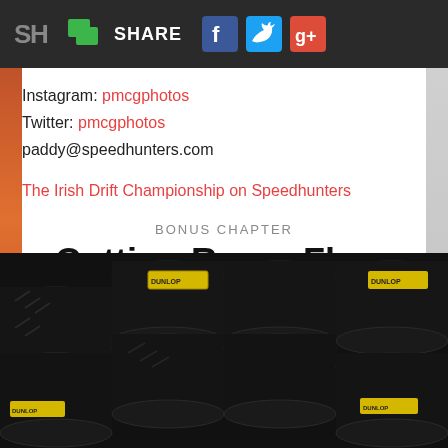SH | SHARE [Facebook] [Twitter] [Google+]
Instagram: pmcgphotos
Twitter: pmcgphotos
paddy@speedhunters.com
The Irish Drift Championship on Speedhunters
BONUS CHAPTER
Cutting Room Floor
[Figure (photo): Stacked black racing/drift tires with yellow Dunlop labels, arranged in rows, photographed from the front]